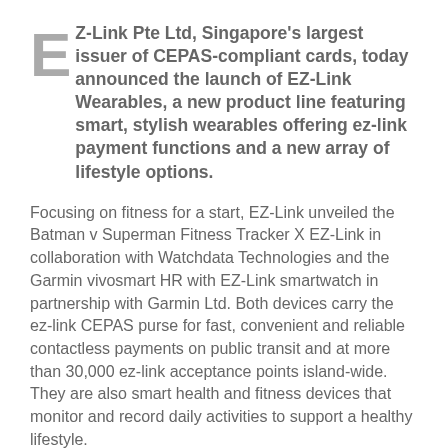EZ-Link Pte Ltd, Singapore's largest issuer of CEPAS-compliant cards, today announced the launch of EZ-Link Wearables, a new product line featuring smart, stylish wearables offering ez-link payment functions and a new array of lifestyle options.
Focusing on fitness for a start, EZ-Link unveiled the Batman v Superman Fitness Tracker X EZ-Link in collaboration with Watchdata Technologies and the Garmin vivosmart HR with EZ-Link smartwatch in partnership with Garmin Ltd. Both devices carry the ez-link CEPAS purse for fast, convenient and reliable contactless payments on public transit and at more than 30,000 ez-link acceptance points island-wide. They are also smart health and fitness devices that monitor and record daily activities to support a healthy lifestyle.